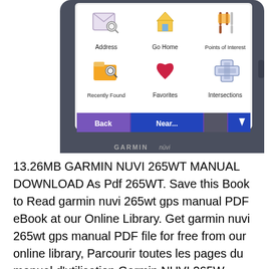[Figure (photo): Garmin nuvi GPS device showing navigation menu screen with icons: Address, Go Home, Points of Interest, Recently Found, Favorites, Intersections. Bottom bar shows Back, Near..., and down arrow buttons. Device branded GARMIN nuvi.]
13.26MB GARMIN NUVI 265WT MANUAL DOWNLOAD As Pdf 265WT. Save this Book to Read garmin nuvi 265wt gps manual PDF eBook at our Online Library. Get garmin nuvi 265wt gps manual PDF file for free from our online library, Parcourir toutes les pages du manuel d'utilisation Garmin NUVI 265W, traduire dans